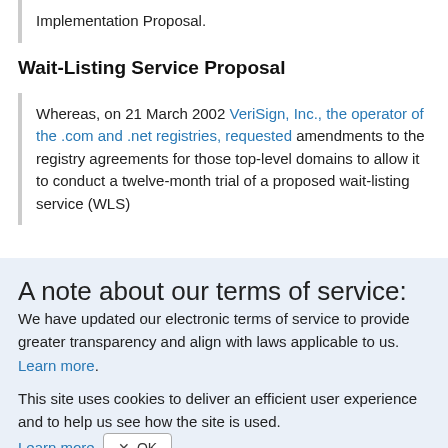Implementation Proposal.
Wait-Listing Service Proposal
Whereas, on 21 March 2002 VeriSign, Inc., the operator of the .com and .net registries, requested amendments to the registry agreements for those top-level domains to allow it to conduct a twelve-month trial of a proposed wait-listing service (WLS)
A note about our terms of service:
We have updated our electronic terms of service to provide greater transparency and align with laws applicable to us. Learn more.
This site uses cookies to deliver an efficient user experience and to help us see how the site is used. Learn more. OK